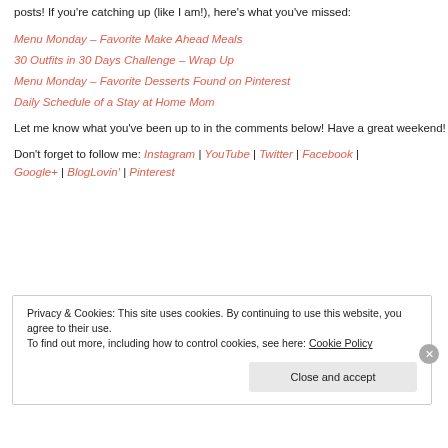posts!  If you're catching up (like I am!), here's what you've missed:
Menu Monday – Favorite Make Ahead Meals
30 Outfits in 30 Days Challenge – Wrap Up
Menu Monday – Favorite Desserts Found on Pinterest
Daily Schedule of a Stay at Home Mom
Let me know what you've been up to in the comments below!  Have a great weekend!
Don't forget to follow me: Instagram | YouTube | Twitter | Facebook | Google+ | BlogLovin' | Pinterest
Privacy & Cookies: This site uses cookies. By continuing to use this website, you agree to their use.
To find out more, including how to control cookies, see here: Cookie Policy
Close and accept